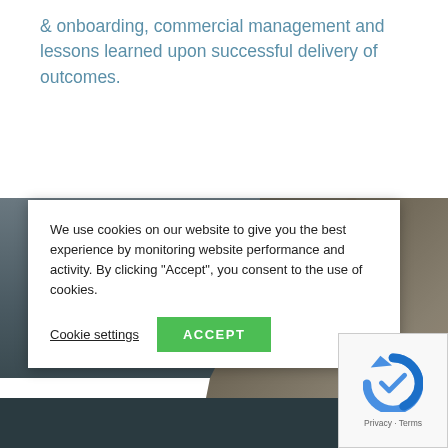& onboarding, commercial management and lessons learned upon successful delivery of outcomes.
[Figure (photo): Dark rocky landscape background with large green '150+' text overlay]
We use cookies on our website to give you the best experience by monitoring website performance and activity. By clicking "Accept", you consent to the use of cookies.
Cookie settings
ACCEPT